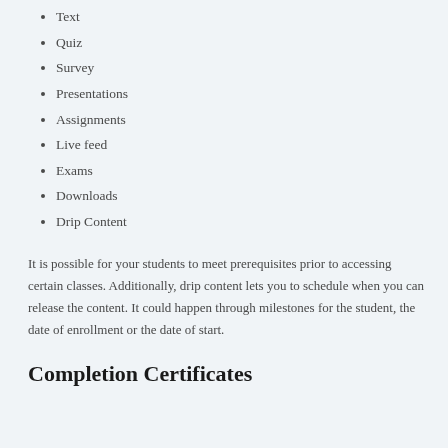Text
Quiz
Survey
Presentations
Assignments
Live feed
Exams
Downloads
Drip Content
It is possible for your students to meet prerequisites prior to accessing certain classes. Additionally, drip content lets you to schedule when you can release the content. It could happen through milestones for the student, the date of enrollment or the date of start.
Completion Certificates